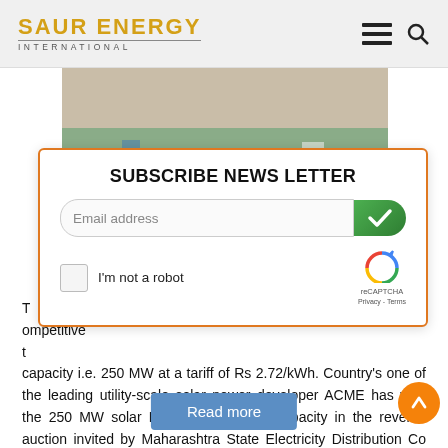SAUR ENERGY INTERNATIONAL
[Figure (photo): Solar power plant with panels and buildings in background]
SUBSCRIBE NEWS LETTER
Email address
I'm not a robot
reCAPTCHA Privacy - Terms
T... competitive t... capacity i.e. 250 MW at a tariff of Rs 2.72/kWh. Country's one of the leading utility-scale solar power developer ACME has won the 250 MW solar Photo Voltaic (PV) capacity in the reverse auction invited by Maharashtra State Electricity Distribution Co [...]
Read more